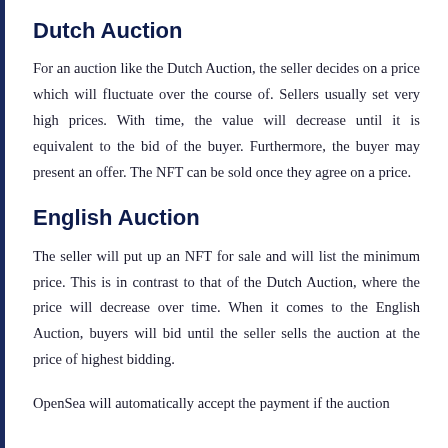Dutch Auction
For an auction like the Dutch Auction, the seller decides on a price which will fluctuate over the course of. Sellers usually set very high prices. With time, the value will decrease until it is equivalent to the bid of the buyer. Furthermore, the buyer may present an offer. The NFT can be sold once they agree on a price.
English Auction
The seller will put up an NFT for sale and will list the minimum price. This is in contrast to that of the Dutch Auction, where the price will decrease over time. When it comes to the English Auction, buyers will bid until the seller sells the auction at the price of highest bidding.
OpenSea will automatically accept the payment if the auction